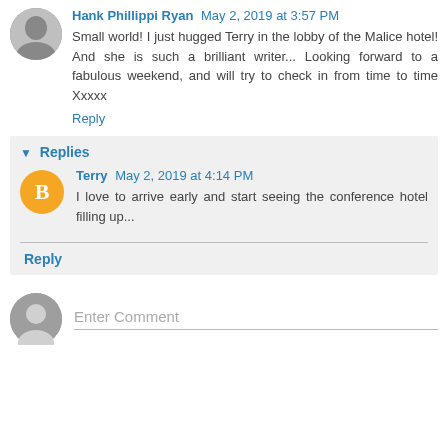Hank Phillippi Ryan May 2, 2019 at 3:57 PM
Small world! I just hugged Terry in the lobby of the Malice hotel! And she is such a brilliant writer... Looking forward to a fabulous weekend, and will try to check in from time to time Xxxxx
Reply
Replies
Terry May 2, 2019 at 4:14 PM
I love to arrive early and start seeing the conference hotel filling up...
Reply
Enter Comment